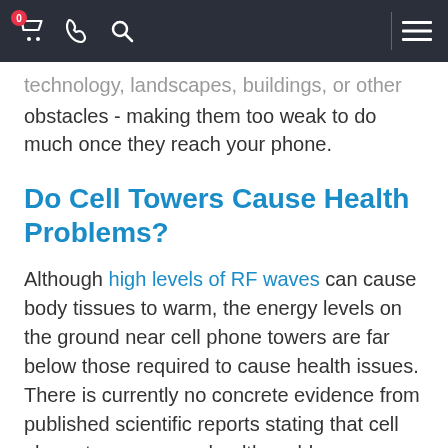Navigation bar with cart (0), phone, search icons and hamburger menu
technology, landscapes, buildings, or other obstacles - making them too weak to do much once they reach your phone.
Do Cell Towers Cause Health Problems?
Although high levels of RF waves can cause body tissues to warm, the energy levels on the ground near cell phone towers are far below those required to cause health issues. There is currently no concrete evidence from published scientific reports stating that cell phone towers cause health problems.